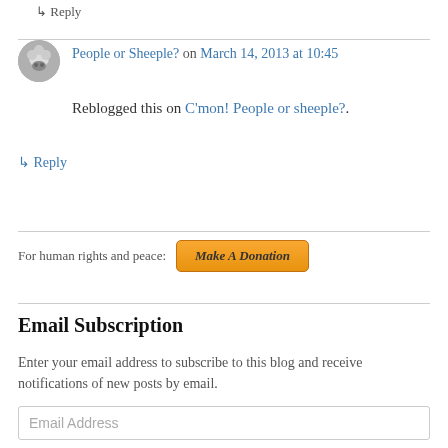↳ Reply
People or Sheeple? on March 14, 2013 at 10:45
Reblogged this on C'mon! People or sheeple?.
↳ Reply
For human rights and peace:
[Figure (other): Make A Donation button with orange gradient background]
Email Subscription
Enter your email address to subscribe to this blog and receive notifications of new posts by email.
Email Address